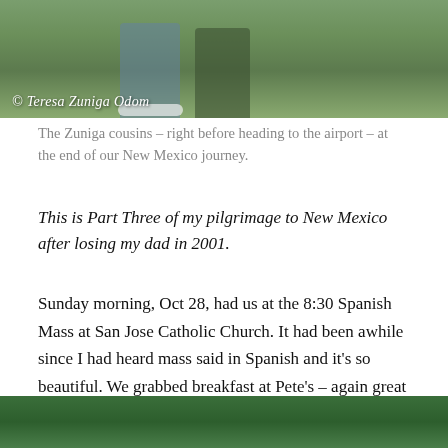[Figure (photo): Photo of the Zuniga cousins outdoors with greenery in the background, with copyright watermark '© Teresa Zuniga Odom' overlaid on the image]
The Zuniga cousins – right before heading to the airport – at the end of our New Mexico journey.
This is Part Three of my pilgrimage to New Mexico after losing my dad in 2001.
Sunday morning, Oct 28, had us at the 8:30 Spanish Mass at San Jose Catholic Church.  It had been awhile since I had heard mass said in Spanish and it's so beautiful.  We grabbed breakfast at Pete's – again great green chile to top our eggs and tortillas!  On to Wal-Mart to pick up a birthday cake for Uncle Mando, flowers, and film for my camera.  (This was before I got into digital!)
[Figure (photo): Partial photo visible at bottom of page showing outdoor greenery scene]